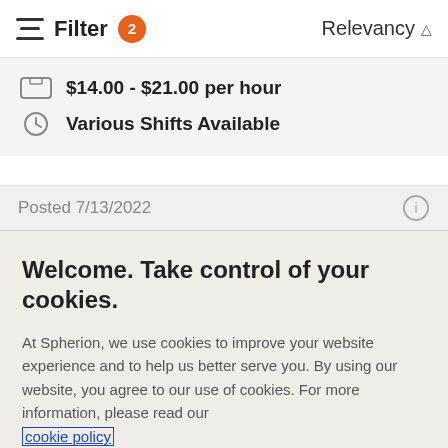Filter 2  Relevancy
$14.00 - $21.00 per hour
Various Shifts Available
Posted 7/13/2022
Welcome. Take control of your cookies.
At Spherion, we use cookies to improve your website experience and to help us better serve you. By using our website, you agree to our use of cookies. For more information, please read our cookie policy
Cookies Settings
Accept Cookies